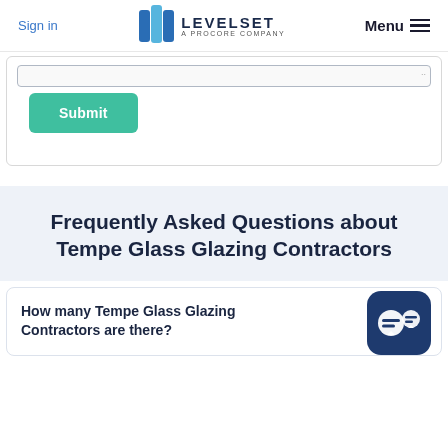Sign in | LEVELSET A PROCORE COMPANY | Menu
[Figure (screenshot): Input text bar at top of a white card form section]
Submit
Frequently Asked Questions about Tempe Glass Glazing Contractors
How many Tempe Glass Glazing Contractors are there?